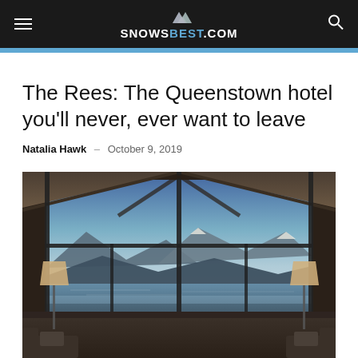SNOWSBEST.COM
The Rees: The Queenstown hotel you'll never, ever want to leave
Natalia Hawk – October 9, 2019
[Figure (photo): Interior of The Rees hotel suite showing floor-to-ceiling angled glass windows with a dramatic view of a lake and snow-capped mountains at dusk. Two lamp shades are visible on either side with lounge chairs below.]